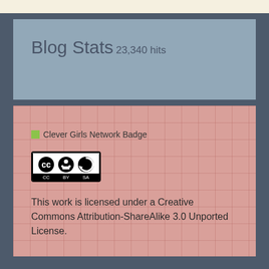Blog Stats
23,340 hits
[Figure (logo): Clever Girls Network Badge placeholder image]
[Figure (logo): Creative Commons Attribution-ShareAlike license badge]
This work is licensed under a Creative Commons Attribution-ShareAlike 3.0 Unported License.